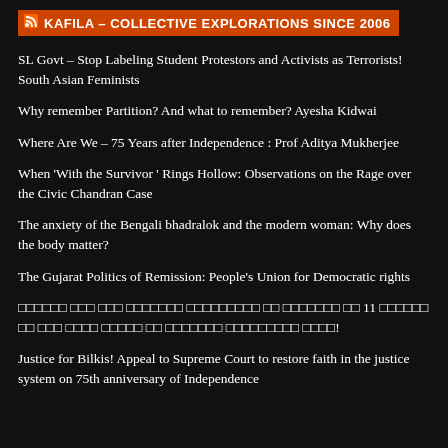KAFILA – COLLECTIVE EXPLORATIONS SINCE 2006
SL Govt – Stop Labeling Student Protestors and Activists as Terrorists! South Asian Feminists
Why remember Partition? And what to remember? Ayesha Kidwai
Where Are We – 75 Years after Independence : Prof Aditya Mukherjee
When 'With the Survivor ' Rings Hollow: Observations on the Rage over the Civic Chandran Case
The anxiety of the Bengali bhadralok and the modern woman: Why does the body matter?
The Gujarat Politics of Remission: People's Union for Democratic rights
□□□□□□ □□□ □□□ □□□□□□□ □□□□□□□□□ □□ □□□□□□□ □□ 11 □□□□□□ □□ □□□ □□□□ □□□□□ □□ □□□□□□□ □□□□□□□□□ □□□□!
Justice for Bilkis! Appeal to Supreme Court to restore faith in the justice system on 75th anniversary of Independence